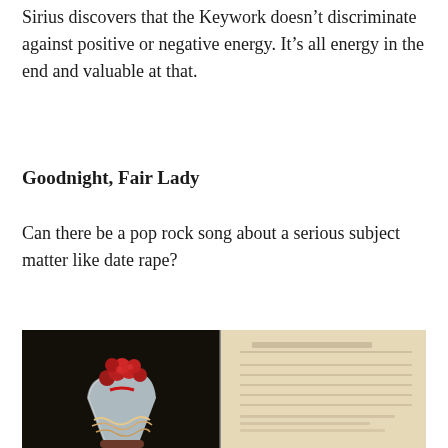Sirius discovers that the Keywork doesn't discriminate against positive or negative energy. It's all energy in the end and valuable at that.
Goodnight, Fair Lady
Can there be a pop rock song about a serious subject matter like date rape?
[Figure (photo): Left half: dark background with a person holding a glass vase containing red roses and what appears to be pasta or noodles. Right half: an open book or sheet music on a cream/beige background with faint text/lines.]